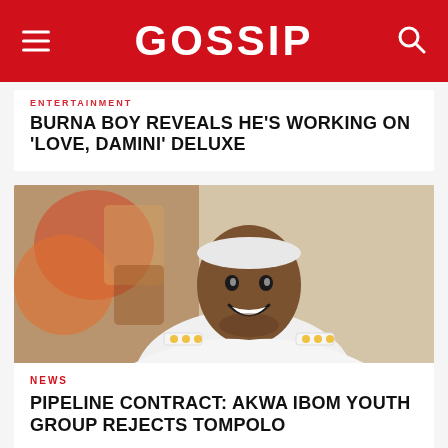GOSSIP
ENTERTAINMENT
BURNA BOY REVEALS HE'S WORKING ON 'LOVE, DAMINI' DELUXE
[Figure (photo): Photo of a smiling man wearing a white uniform with gold epaulettes and a white headband, in front of colorful background]
NEWS
PIPELINE CONTRACT: AKWA IBOM YOUTH GROUP REJECTS TOMPOLO